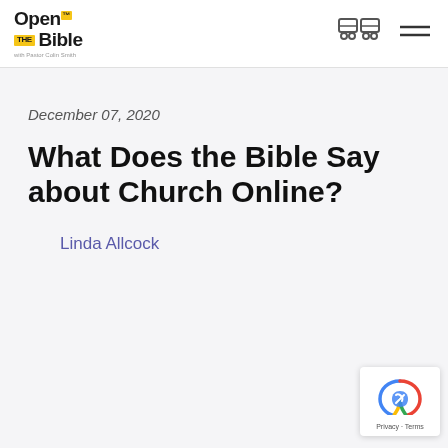Open the Bible with Pastor Colin Smith
December 07, 2020
What Does the Bible Say about Church Online?
Linda Allcock
[Figure (logo): reCAPTCHA badge with Privacy and Terms text]